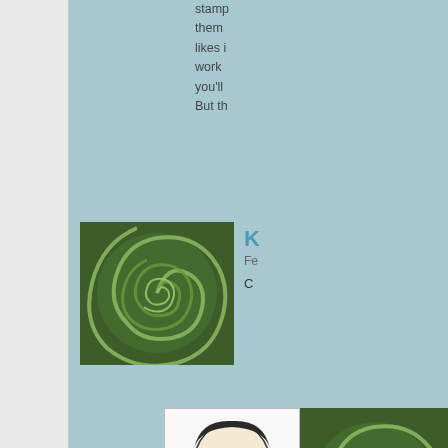stamp them likes i work you'll But th
[Figure (illustration): Green swirl/spiral pattern on dark green background — user avatar for commenter K]
K
Fe

C
[Figure (illustration): Cartoon illustration of a smiling man with dark hair, sketch style on white background — user avatar]
[Figure (illustration): Green swirl/spiral pattern on dark green background — user avatar (same style as first)]
Ed8
March

Smell and-s scrat
[Figure (illustration): Generic gray silhouette person avatar for user Ed8]